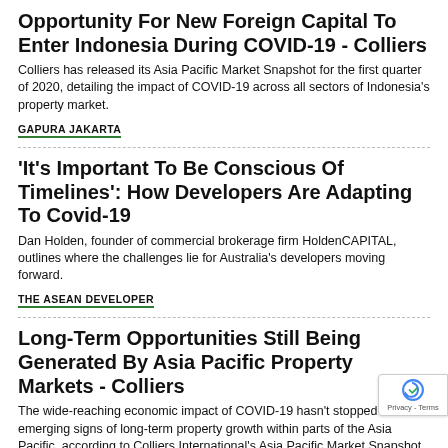Opportunity For New Foreign Capital To Enter Indonesia During COVID-19 - Colliers
Colliers has released its Asia Pacific Market Snapshot for the first quarter of 2020, detailing the impact of COVID-19 across all sectors of Indonesia's property market.
GAPURA JAKARTA
'It's Important To Be Conscious Of Timelines': How Developers Are Adapting To Covid-19
Dan Holden, founder of commercial brokerage firm HoldenCAPITAL, outlines where the challenges lie for Australia's developers moving forward.
THE ASEAN DEVELOPER
Long-Term Opportunities Still Being Generated By Asia Pacific Property Markets - Colliers
The wide-reaching economic impact of COVID-19 hasn't stopped emerging signs of long-term property growth within parts of the Asia Pacific, according to Colliers International's Asia Pacific Market Snapshot Q1 2020.
RETALK ASIA